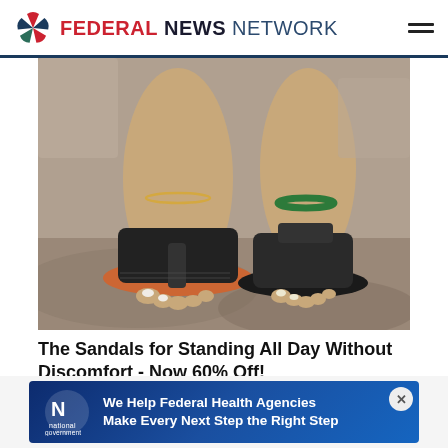FEDERAL NEWS NETWORK
[Figure (photo): Close-up photo of a woman's feet wearing black platform flip-flop sandals with orange soles, standing on rocky ground. One foot has a green beaded anklet.]
The Sandals for Standing All Day Without Discomfort - Now 60% Off!
Sursell
[Figure (logo): National Government Services advertisement banner with dark blue gradient background. NGS logo on left, text reads: We Help Federal Health Agencies Make Every Next Step the Right Step]